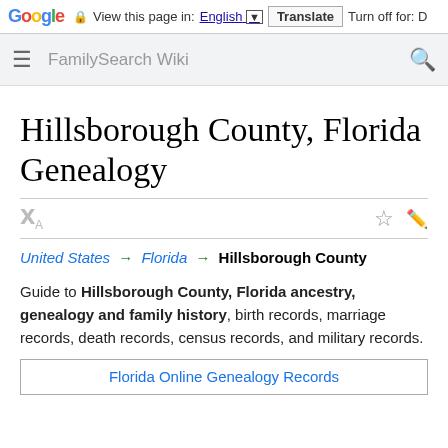Google  View this page in: English [▼]  Translate  Turn off for: D
FamilySearch Wiki
Hillsborough County, Florida Genealogy
United States → Florida → Hillsborough County
Guide to Hillsborough County, Florida ancestry, genealogy and family history, birth records, marriage records, death records, census records, and military records.
Florida Online Genealogy Records